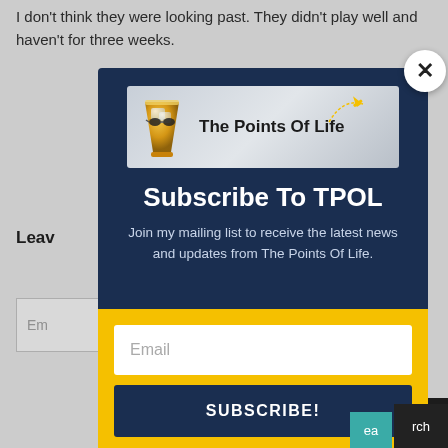I don't think they were looking past. They didn't play well and haven't for three weeks.
Leave
Em
Find
[Figure (screenshot): Popup modal for 'The Points Of Life' newsletter subscription. Contains logo with whiskey glass and airplane icon, title 'Subscribe To TPOL', subtitle text, email input field, and SUBSCRIBE! button. Close (X) button in top-right corner. Modal has dark blue top section and yellow bottom section.]
Subscribe To TPOL
Join my mailing list to receive the latest news and updates from The Points Of Life.
Email
SUBSCRIBE!